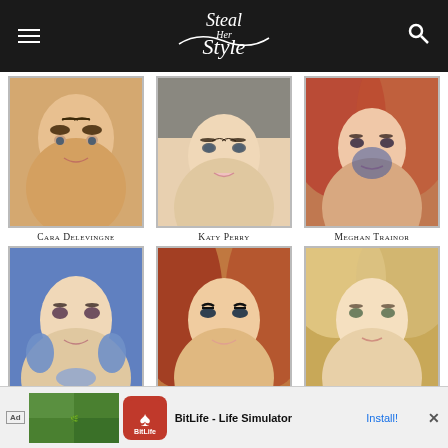Steal Her Style
[Figure (photo): Close-up photo of Cara Delevingne's face with bold brows and smoky eye makeup]
Cara Delevingne
[Figure (photo): Close-up photo of Katy Perry smiling with dramatic eye makeup]
Katy Perry
[Figure (photo): Close-up photo of Meghan Trainor with red hair and smoky eye makeup]
Meghan Trainor
[Figure (photo): Close-up photo of Chloe Lukasiak with blonde hair and smoky eye makeup]
Chloe Lukasiak
[Figure (photo): Close-up photo of Jess Glynne with curly red hair and bold cat-eye liner]
Jess Glynne
[Figure (photo): Close-up photo of Jennifer Lawrence with blonde hair and natural makeup]
Jennifer Lawrence
[Figure (screenshot): Ad banner for BitLife - Life Simulator app with install button]